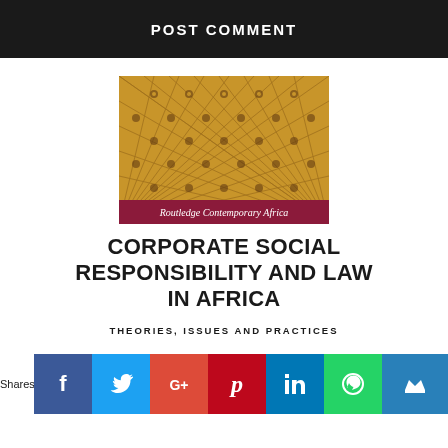POST COMMENT
[Figure (photo): Book cover of 'Corporate Social Responsibility and Law in Africa: Theories, Issues and Practices', Routledge Contemporary Africa series. Cover has a golden/amber background with a repeating diamond and floral pattern, with a dark red/crimson band at the bottom bearing the series name in italic.]
CORPORATE SOCIAL RESPONSIBILITY AND LAW IN AFRICA
THEORIES, ISSUES AND PRACTICES
Shares